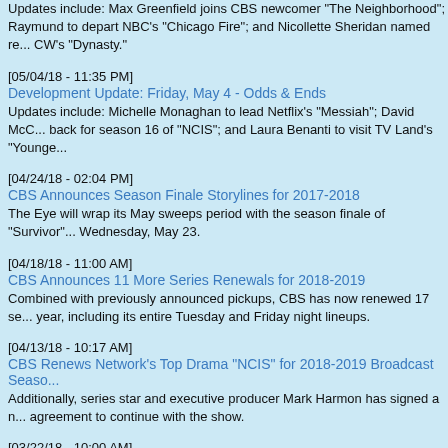Updates include: Max Greenfield joins CBS newcomer "The Neighborhood"; Raymund to depart NBC's "Chicago Fire"; and Nicollette Sheridan named re... CW's "Dynasty."
[05/04/18 - 11:35 PM]
Development Update: Friday, May 4 - Odds & Ends
Updates include: Michelle Monaghan to lead Netflix's "Messiah"; David McC... back for season 16 of "NCIS"; and Laura Benanti to visit TV Land's "Younge...
[04/24/18 - 02:04 PM]
CBS Announces Season Finale Storylines for 2017-2018
The Eye will wrap its May sweeps period with the season finale of "Survivor"... Wednesday, May 23.
[04/18/18 - 11:00 AM]
CBS Announces 11 More Series Renewals for 2018-2019
Combined with previously announced pickups, CBS has now renewed 17 se... year, including its entire Tuesday and Friday night lineups.
[04/13/18 - 10:17 AM]
CBS Renews Network's Top Drama "NCIS" for 2018-2019 Broadcast Seaso...
Additionally, series star and executive producer Mark Harmon has signed a n... agreement to continue with the show.
[03/22/18 - 10:00 AM]
CBS Announces Season Finale Airdates for 2017-2018
"Scorpion" will now kick off said finales on Monday, April 16.